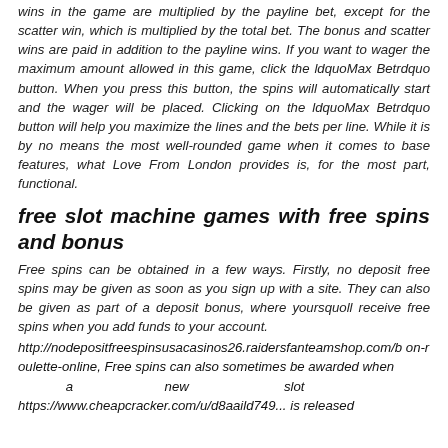wins in the game are multiplied by the payline bet, except for the scatter win, which is multiplied by the total bet. The bonus and scatter wins are paid in addition to the payline wins. If you want to wager the maximum amount allowed in this game, click the ldquoMax Betrdquo button. When you press this button, the spins will automatically start and the wager will be placed. Clicking on the ldquoMax Betrdquo button will help you maximize the lines and the bets per line. While it is by no means the most well-rounded game when it comes to base features, what Love From London provides is, for the most part, functional.
free slot machine games with free spins and bonus
Free spins can be obtained in a few ways. Firstly, no deposit free spins may be given as soon as you sign up with a site. They can also be given as part of a deposit bonus, where yoursquoll receive free spins when you add funds to your account.
http://nodepositfreespinsusacasinos26.raidersfanteamshop.com/b on-roulette-online, Free spins can also sometimes be awarded when a new slot https://www.cheapcracker.com/u/d8aaild749... is released